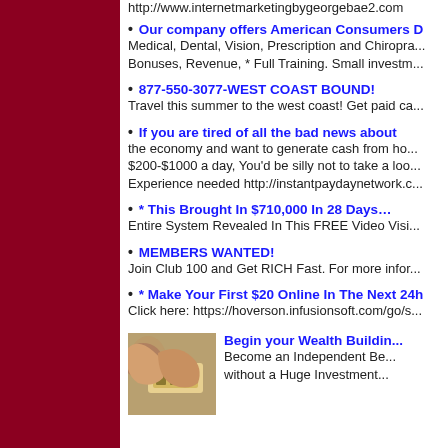[Figure (illustration): Dark red/maroon sidebar panel on the left side of the page]
http://www.internetmarketingbygeorgebae2.c...
• Our company offers American Consumers D...  Medical, Dental, Vision, Prescription and Chiropra... Bonuses, Revenue, * Full Training. Small investm...
• 877-550-3077-WEST COAST BOUND!  Travel this summer to the west coast! Get paid ca...
• If you are tired of all the bad news about  the economy and want to generate cash from ho... $200-$1000 a day, You'd be silly not to take a loo... Experience needed http://instantpaydaynetwork.c...
• * This Brought In $710,000 In 28 Days…  Entire System Revealed In This FREE Video Visi...
• MEMBERS WANTED!  Join Club 100 and Get RICH Fast. For more infor...
• * Make Your First $20 Online In The Next 24h...  Click here: https://hoverson.infusionsoft.com/go/s...
[Figure (photo): Hands holding cash money]
Begin your Wealth Buildin... Become an Independent Be... without a Huge Investment...